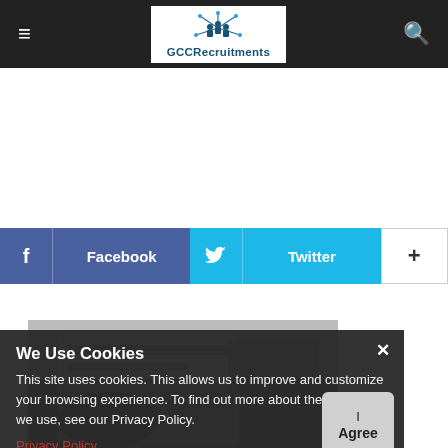GCCRecruitments
[Figure (logo): GCCRecruitments logo with blue figures and star/network icon above text]
[Figure (infographic): Facebook and Twitter social share buttons, plus a '+' button]
[Figure (photo): Photo of a laptop/desk setup, partially visible]
We Use Cookies
This site uses cookies. This allows us to improve and customize your browsing experience. To find out more about the cookies we use, see our Privacy Policy.
Privacy Policy